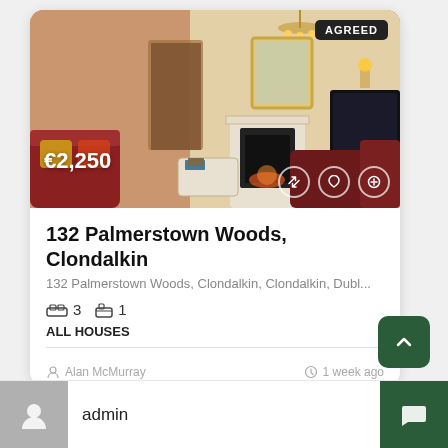[Figure (photo): Interior photo of a living room with warm lighting, chandelier, fireplace, red sofas, and yellow cushions. Shows an 'AGREED' badge in top right corner and price €2,250 in the bottom left.]
132 Palmerstown Woods, Clondalkin
132 Palmerstown Woods, Clondalkin, Clondalkin, Dubl...
3  1
ALL HOUSES
Alan McMurray
1 week ago
admin